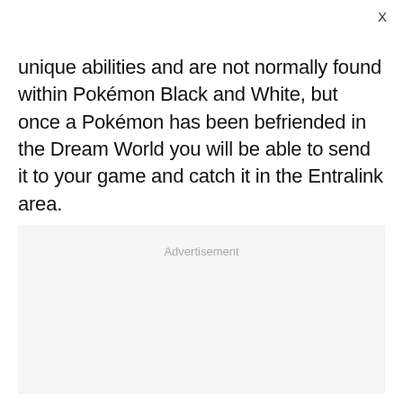X
unique abilities and are not normally found within Pokémon Black and White, but once a Pokémon has been befriended in the Dream World you will be able to send it to your game and catch it in the Entralink area.
Advertisement